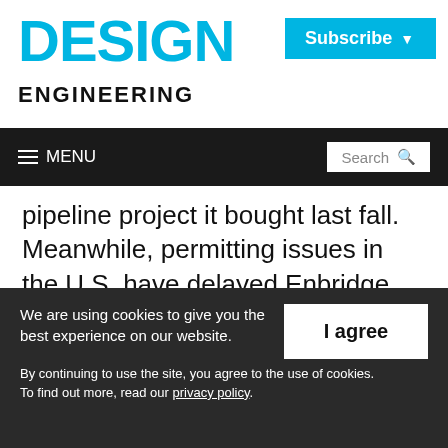DESIGN ENGINEERING
Subscribe
MENU | Search
pipeline project it bought last fall.
Meanwhile, permitting issues in the U.S. have delayed Enbridge Inc.'s Line 3 replacement pipeline project until the middle of 2020 and TransCanada Corp.'s Keystone XL pipeline
We are using cookies to give you the best experience on our website. By continuing to use the site, you agree to the use of cookies. To find out more, read our privacy policy.
I agree